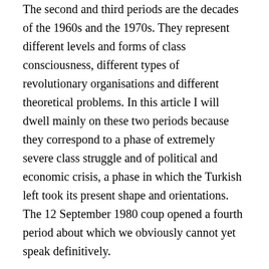The second and third periods are the decades of the 1960s and the 1970s. They represent different levels and forms of class consciousness, different types of revolutionary organisations and different theoretical problems. In this article I will dwell mainly on these two periods because they correspond to a phase of extremely severe class struggle and of political and economic crisis, a phase in which the Turkish left took its present shape and orientations. The 12 September 1980 coup opened a fourth period about which we obviously cannot yet speak definitively.
The Turkish left up to the 1960s
WHEN THE Turkish Communist Party (TKP) was founded in Baku in the Soviet Union in June 1919, Turkey was already in the throes of a liberation war and heading towards a bourgeois revolution under the